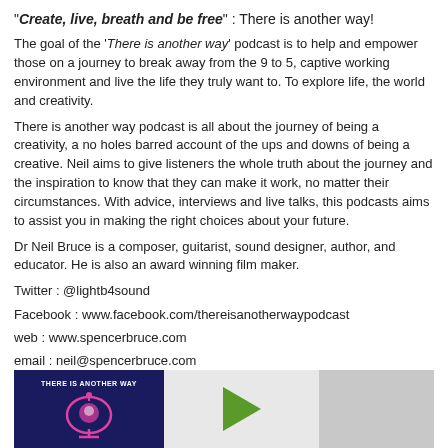"Create, live, breath and be free" : There is another way!
The goal of the 'There is another way' podcast is to help and empower those on a journey to break away from the 9 to 5, captive working environment and live the life they truly want to. To explore life, the world and creativity.
There is another way podcast is all about the journey of being a creativity, a no holes barred account of the ups and downs of being a creative. Neil aims to give listeners the whole truth about the journey and the inspiration to know that they can make it work, no matter their circumstances. With advice, interviews and live talks, this podcasts aims to assist you in making the right choices about your future.
Dr Neil Bruce is a composer, guitarist, sound designer, author, and educator. He is also an award winning film maker.
Twitter : @lightb4sound
Facebook : www.facebook.com/thereisanotherwaypodcast
web : www.spencerbruce.com
email : neil@spencerbruce.com
[Figure (other): Podcast player widget with thumbnail showing 'There Is Another Way' podcast logo (dark blue background with pink brain/head icon), a play button (green triangle), and a grey progress bar area.]